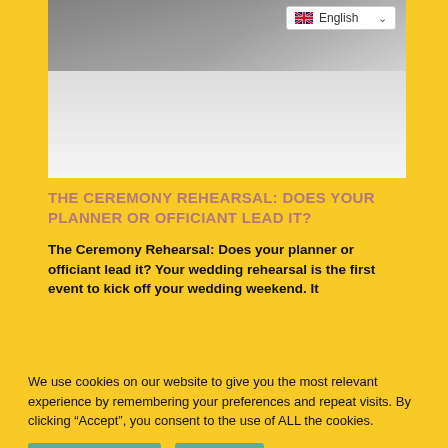[Figure (photo): Black and white wedding photo showing a bride in a white dress, close-up view of the dress fabric and details]
[Figure (screenshot): English language selector dropdown in top right corner with UK flag icon]
THE CEREMONY REHEARSAL: DOES YOUR PLANNER OR OFFICIANT LEAD IT?
The Ceremony Rehearsal: Does your planner or officiant lead it? Your wedding rehearsal is the first event to kick off your wedding weekend. It
We use cookies on our website to give you the most relevant experience by remembering your preferences and repeat visits. By clicking “Accept”, you consent to the use of ALL the cookies.
Cookie settings
ACCEPT